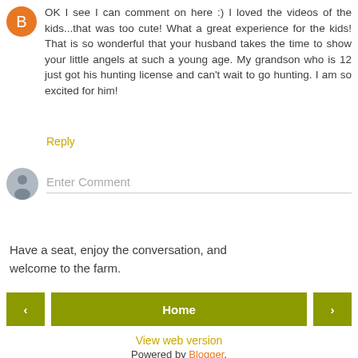OK I see I can comment on here :) I loved the videos of the kids...that was too cute! What a great experience for the kids! That is so wonderful that your husband takes the time to show your little angels at such a young age. My grandson who is 12 just got his hunting license and can't wait to go hunting. I am so excited for him!
Reply
Enter Comment
Have a seat, enjoy the conversation, and welcome to the farm.
< Home > View web version Powered by Blogger.